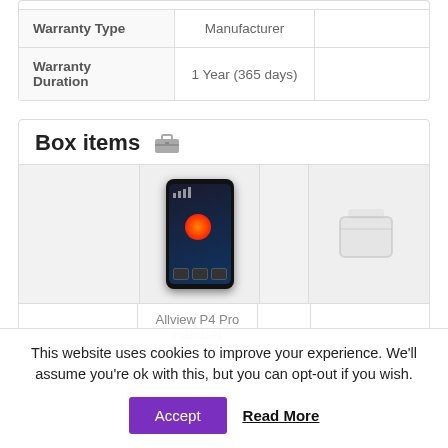|  |  |  |
| --- | --- | --- |
| Warranty Type | Manufacturer |  |
| Warranty Duration | 1 Year (365 days) |  |
Box items
[Figure (photo): Grid showing box items: Allview P4 Pro handset image and a placeholder ghost/box icon]
Allview P4 Pro Handset
This website uses cookies to improve your experience. We'll assume you're ok with this, but you can opt-out if you wish.